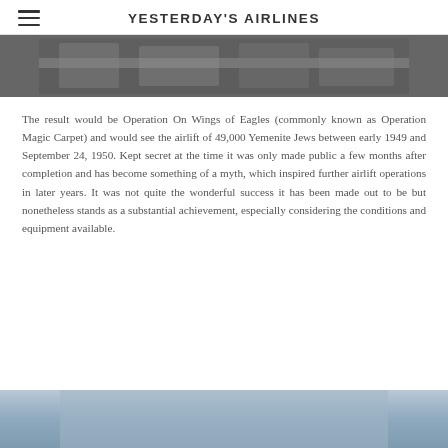YESTERDAY'S AIRLINES
[Figure (photo): Black and white photograph showing a crowd of people, likely Yemenite Jews during the airlift operation]
The result would be Operation On Wings of Eagles (commonly known as Operation Magic Carpet) and would see the airlift of 49,000 Yemenite Jews between early 1949 and September 24, 1950. Kept secret at the time it was only made public a few months after completion and has become something of a myth, which inspired further airlift operations in later years. It was not quite the wonderful success it has been made out to be but nonetheless stands as a substantial achievement, especially considering the conditions and equipment available.
[Figure (photo): Color photograph showing a blue sky, likely an aircraft or aerial scene]